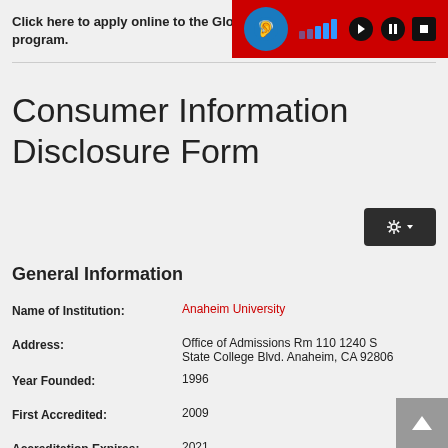Click here to apply online to the Global program.
Consumer Information Disclosure Form
General Information
| Field | Value |
| --- | --- |
| Name of Institution: | Anaheim University |
| Address: | Office of Admissions Rm 110  1240 S State College Blvd.  Anaheim, CA 92806 |
| Year Founded: | 1996 |
| First Accredited: | 2009 |
| Accreditation Expires: | 2021 |